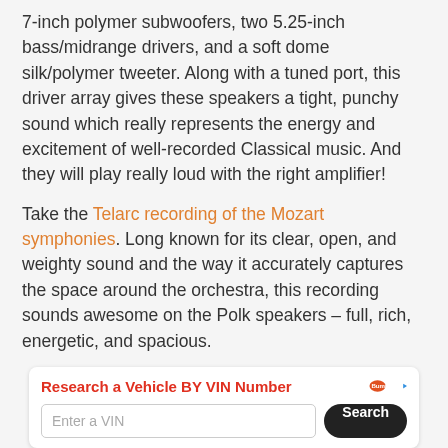7-inch polymer subwoofers, two 5.25-inch bass/midrange drivers, and a soft dome silk/polymer tweeter. Along with a tuned port, this driver array gives these speakers a tight, punchy sound which really represents the energy and excitement of well-recorded Classical music. And they will play really loud with the right amplifier!
Take the Telarc recording of the Mozart symphonies. Long known for its clear, open, and weighty sound and the way it accurately captures the space around the orchestra, this recording sounds awesome on the Polk speakers – full, rich, energetic, and spacious.
[Figure (other): Advertisement banner: 'Research a Vehicle BY VIN Number' with Bump logo, a VIN input field, and a Search button.]